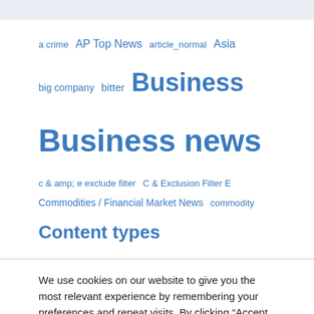[Figure (other): Top navigation/header bar in light blue-gray]
a crime  AP Top News  article_normal  Asia  big company  bitter  Business  Business news  c & amp; e exclude filter  C & Exclusion Filter E  Commodities / Financial Market News  commodity  Content types
We use cookies on our website to give you the most relevant experience by remembering your preferences and repeat visits. By clicking “Accept All”, you consent to the use of ALL the cookies. However, you may visit "Cookie Settings" to provide a controlled consent.
Cookie Settings  Accept All